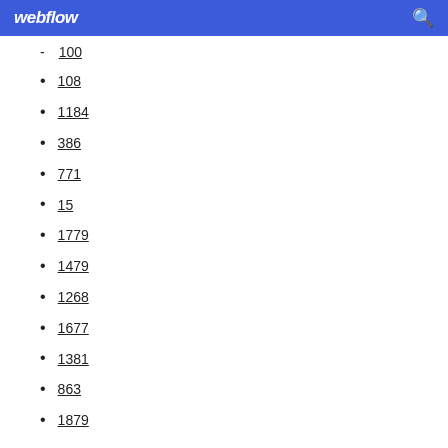webflow
100
108
1184
386
771
15
1779
1479
1268
1677
1381
863
1879